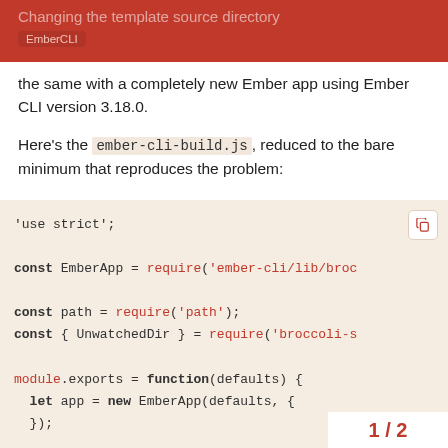Changing the template source directory
EmberCLI
the same with a completely new Ember app using Ember CLI version 3.18.0.
Here's the ember-cli-build.js, reduced to the bare minimum that reproduces the problem:
[Figure (screenshot): Code block showing ember-cli-build.js content with JavaScript code: 'use strict'; const EmberApp = require('ember-cli/lib/broc... const path = require('path'); const { UnwatchedDir } = require('broccoli-s... module.exports = function(defaults) { let app = new EmberApp(defaults, { }); const mobileTemplates = new...]
1 / 2